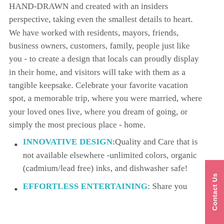HAND-DRAWN and created with an insiders perspective, taking even the smallest details to heart. We have worked with residents, mayors, friends, business owners, customers, family, people just like you - to create a design that locals can proudly display in their home, and visitors will take with them as a tangible keepsake. Celebrate your favorite vacation spot, a memorable trip, where you were married, where your loved ones live, where you dream of going, or simply the most precious place - home.
INNOVATIVE DESIGN:Quality and Care that is not available elsewhere -unlimited colors, organic (cadmium/lead free) inks, and dishwasher safe!
EFFORTLESS ENTERTAINING: Share you